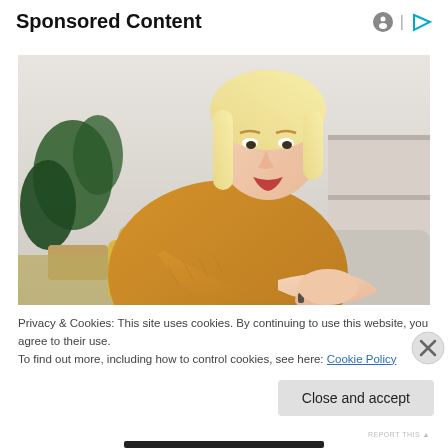Sponsored Content
[Figure (photo): A blonde woman in a mustard yellow knit sweater looking at her arm/elbow with a concerned expression, seated on a couch with a yellow pillow and plant in background.]
Privacy & Cookies: This site uses cookies. By continuing to use this website, you agree to their use.
To find out more, including how to control cookies, see here: Cookie Policy
Close and accept